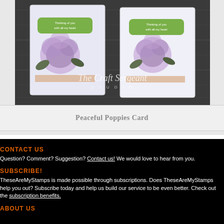[Figure (photo): Photo of two handmade greeting cards featuring purple/lavender poppies with green labels reading 'Thinking of you with all my heart', placed on a dark wood surface. Watermark reads 'The Craft Sergeant STUDIO'.]
Peaceful Poppies Card
CONTACT US
Question? Comment? Suggestion? Contact us! We would love to hear from you.
SUBSCRIBE!
TheseAreMyStamps is made possible through subscriptions. Does TheseAreMyStamps help you out? Subscribe today and help us build our service to be even better. Check out the subscription benefits.
ABOUT US